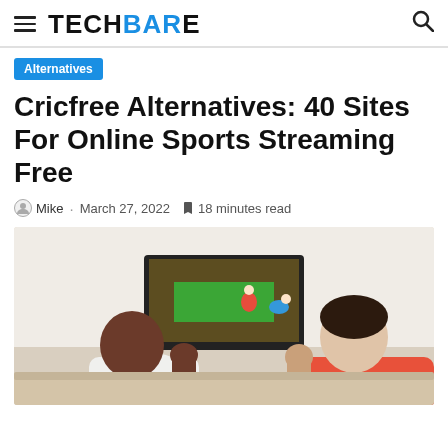TECHBARE
Alternatives
Cricfree Alternatives: 40 Sites For Online Sports Streaming Free
Mike · March 27, 2022  18 minutes read
[Figure (photo): Two men seen from behind watching a football/soccer match on a TV screen, with fists raised in excitement. One man has a shaved head and darker skin, the other has short dark hair. The TV shows players on a red-and-green pitch.]